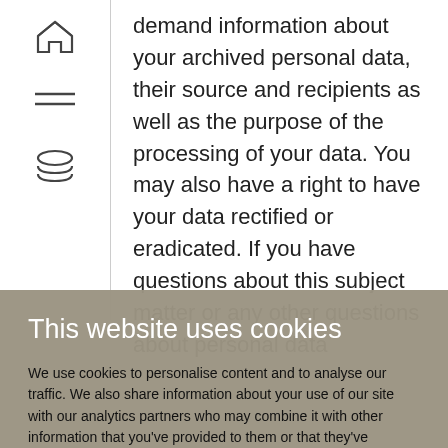demand information about your archived personal data, their source and recipients as well as the purpose of the processing of your data. You may also have a right to have your data rectified or eradicated. If you have questions about this subject matter or any other questions about personal data
This website uses cookies
We use cookies to personalise content and to analyse our traffic. We also share information about your use of our site with our analytics partners who may combine it with other information that you've provided to them or that they've collected from your use of their services. You consent to our cookies if you continue to use our website.
Use necessary cookies only
Allow all cookies
Show details